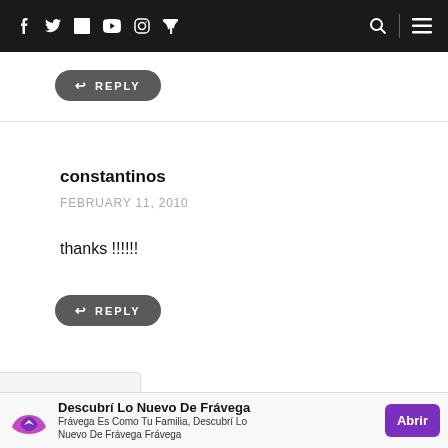[Figure (screenshot): Website top navigation bar with social media icons (Facebook, Twitter, LinkedIn, YouTube, Instagram, RSS) on a black background, with search and menu icons on the right]
[Figure (screenshot): Reply button with left arrow icon and text REPLY in gray rounded pill shape]
constantinos
FEBRUARY 11, 2010
thanks !!!!!!
[Figure (screenshot): Reply button with left arrow icon and text REPLY in gray rounded pill shape]
[Figure (screenshot): Advertisement banner: Descubrí Lo Nuevo De Frávega — Frávega Es Como Tu Familia, Descubrí Lo Nuevo De Frávega Frávega, with purple Abrir button and Frávega logo]